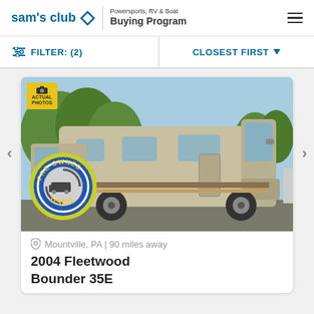sam's club — Powersports, RV & Boat Buying Program
FILTER: (2)   CLOSEST FIRST
[Figure (photo): 2004 Fleetwood Bounder 35E motorhome, a large tan/beige RV photographed outdoors in a parking area. A 'PRE-OWNED USED' circular badge is overlaid on the lower left of the photo, and an 'ACTUAL PHOTOS' yellow badge is in the top-left corner. Navigation arrows appear on both sides.]
Mountville, PA | 90 miles away
2004 Fleetwood Bounder 35E